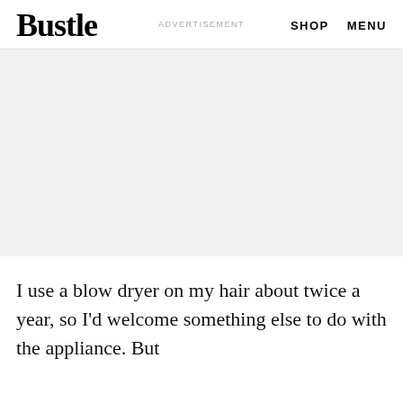Bustle  ADVERTISEMENT  SHOP  MENU
[Figure (other): Advertisement placeholder block — light gray empty rectangle]
I use a blow dryer on my hair about twice a year, so I'd welcome something else to do with the appliance. But